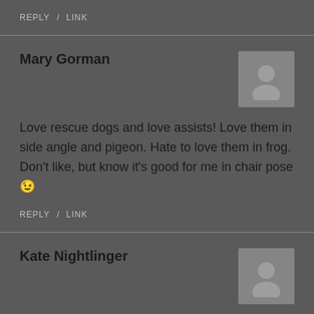REPLY  /  LINK
Mary Gorman
Love rescue dogs and love assists! Love them in side angle and pigeon. Hate to love them in frog. Don't like, but know it's good for me in chair pose 😉
REPLY  /  LINK
Kate Nightlinger
I actually just took a yoga class that the teacher provided assists. It was really different than what I am...